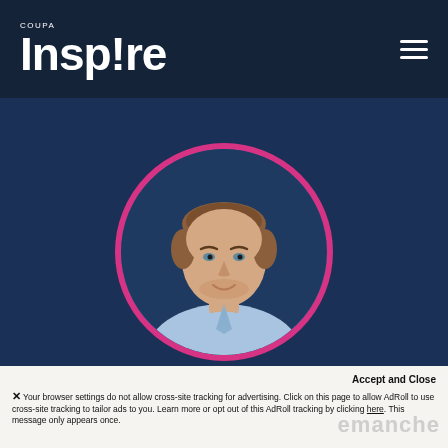COUPA Insp!re
[Figure (photo): Profile photo of a man in a blue shirt inside a circular pink-bordered frame, on a dark navy background]
Accept and Close
× Your browser settings do not allow cross-site tracking for advertising. Click on this page to allow AdRoll to use cross-site tracking to tailor ads to you. Learn more or opt out of this AdRoll tracking by clicking here. This message only appears once.